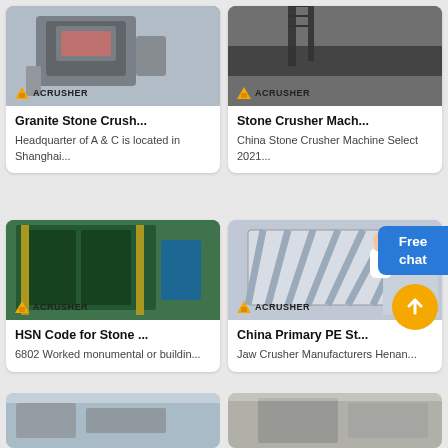[Figure (photo): Granite stone crusher machine photo with Acrusher logo]
Granite Stone Crush...
Headquarter of A & C is located in Shanghai...
[Figure (photo): Stone crusher machine in quarry/outdoor site with Acrusher logo]
Stone Crusher Mach...
China Stone Crusher Machine Select 2021...
[Figure (photo): HSN Code stone crusher industrial machine interior with Acrusher logo]
HSN Code for Stone ...
6802 Worked monumental or buildin...
[Figure (photo): China Primary PE stone crusher grate/bars equipment with Acrusher logo]
China Primary PE St...
Jaw Crusher Manufacturers Henan...
[Figure (photo): Partial bottom left industrial machinery photo]
[Figure (photo): Partial bottom right industrial machinery photo]